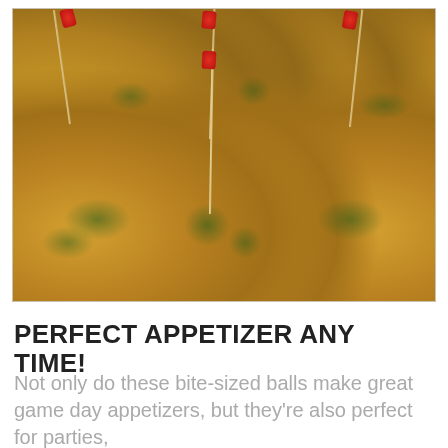[Figure (photo): Close-up photo of golden-brown bite-sized appetizer balls on a white plate, each with a toothpick topped with a red decorative pick, garnished with green herbs.]
PERFECT APPETIZER ANY TIME!
Not only do these bite-sized balls make great game day appetizers, but they're also perfect for parties,